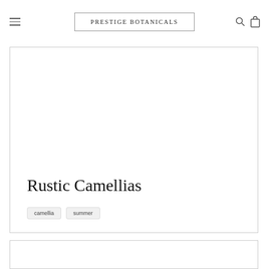PRESTIGE BOTANICALS
[Figure (other): Product image area (blank/white) inside a bordered card]
Rustic Camellias
camellia
summer